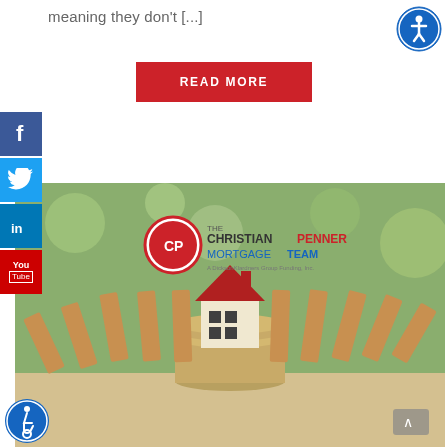meaning they don't [...]
READ MORE
[Figure (logo): The Christian Penner Mortgage Team logo with CP circle emblem]
[Figure (photo): A toy house sitting on a stack of coins surrounded by falling wooden domino blocks, representing financial/mortgage stability concept]
[Figure (other): Accessibility icon (wheelchair symbol) top right]
[Figure (other): Accessibility icon (wheelchair symbol) bottom left]
[Figure (other): Facebook social share button on left sidebar]
[Figure (other): Twitter social share button on left sidebar]
[Figure (other): LinkedIn social share button on left sidebar]
[Figure (other): YouTube social share button on left sidebar]